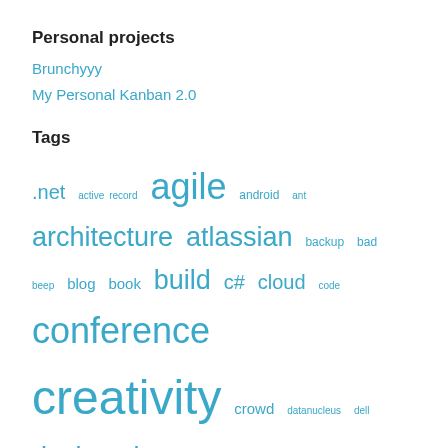Personal projects
Brunchyyy
My Personal Kanban 2.0
Tags
.net active record agile android ant architecture atlassian backup bad beep blog book build c# cloud code conference creativity crowd datanucleus dell design dev development encoding environment fix flow framework frameworks gae gist git google app engine gradle grails groovy improvement innovation java